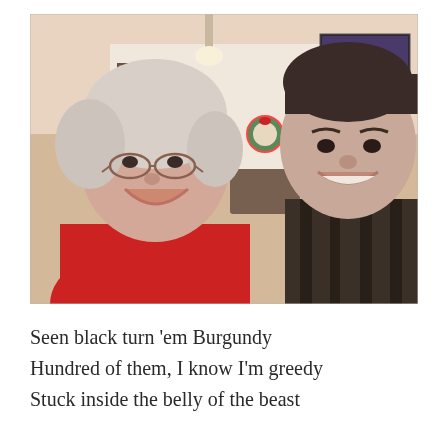[Figure (photo): Two people smiling in a restaurant setting. On the left is an older woman with short white/gray hair wearing glasses and a red sweater with a white turtleneck. On the right is a younger man in a dark patterned shirt. The background shows a restaurant interior with lights, a Christmas wreath with red ribbon, and other diners.]
Seen black turn 'em Burgundy
Hundred of them, I know I'm greedy
Stuck inside the belly of the beast